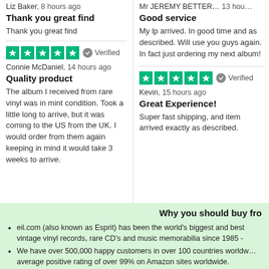Liz Baker, 8 hours ago
Thank you great find
Thank you great find
Mr JEREMY BETTER... 13 hou...
Good service
My lp arrived. In good time and as described. Will use you guys again. In fact just ordering my next album!
[Figure (other): Five green star rating icons with Verified badge]
Connie McDaniel, 14 hours ago
Quality product
The album I received from rare vinyl was in mint condition. Took a little long to arrive, but it was coming to the US from the UK. I would order from them again keeping in mind it would take 3 weeks to arrive.
[Figure (other): Five green star rating icons with Verified badge]
Kevin, 15 hours ago
Great Experience!
Super fast shipping, and item arrived exactly as described.
Why you should buy fro...
eil.com (also known as Esprit) has been the world's biggest and best vintage vinyl records, rare CD's and music memorabilia since 1985 -
We have over 500,000 happy customers in over 100 countries worldwide, average positive rating of over 99% on Amazon sites worldwide.
Your order will be shipped the same day (Monday to Friday) in custom...
All orders carry our 100% customer satisfaction guarantee. If you don...
Check out thousands of independent 5-star reviews about us...